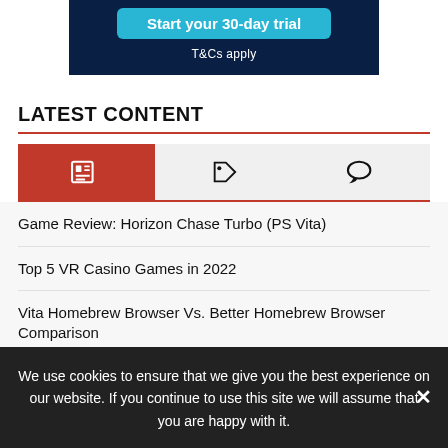[Figure (screenshot): Dark blue banner with 'Start your 30-day trial' button and 'T&Cs apply' text]
LATEST CONTENT
[Figure (infographic): Tab bar with three icons: newspaper/content icon (active, red background), tag icon, chat/comment icon]
Game Review: Horizon Chase Turbo (PS Vita)
Top 5 VR Casino Games in 2022
Vita Homebrew Browser Vs. Better Homebrew Browser Comparison
We use cookies to ensure that we give you the best experience on our website. If you continue to use this site we will assume that you are happy with it.